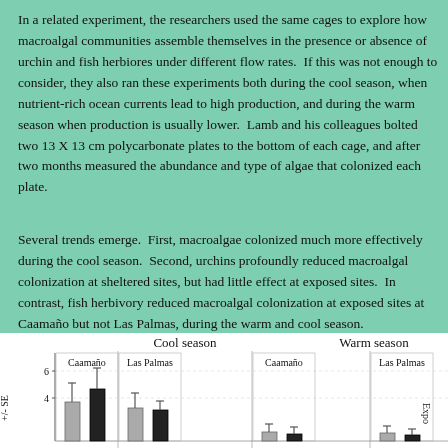In a related experiment, the researchers used the same cages to explore how macroalgal communities assemble themselves in the presence or absence of urchin and fish herbiores under different flow rates.  If this was not enough to consider, they also ran these experiments both during the cool season, when nutrient-rich ocean currents lead to high production, and during the warm season when production is usually lower.  Lamb and his colleagues bolted two 13 X 13 cm polycarbonate plates to the bottom of each cage, and after two months measured the abundance and type of algae that colonized each plate.
Several trends emerge.  First, macroalgae colonized much more effectively during the cool season.  Second, urchins profoundly reduced macroalgal colonization at sheltered sites, but had little effect at exposed sites.  In contrast, fish herbivory reduced macroalgal colonization at exposed sites at Caamaño but not Las Palmas, during the warm and cool season.
[Figure (bar-chart): Grouped bar chart showing macroalgal colonization (mean +/- SE) across Cool season and Warm season at Caamaño and Las Palmas sites. Cool season bars are taller (up to ~6) than warm season bars. Y-axis labeled with tick marks at 4 and 6.]